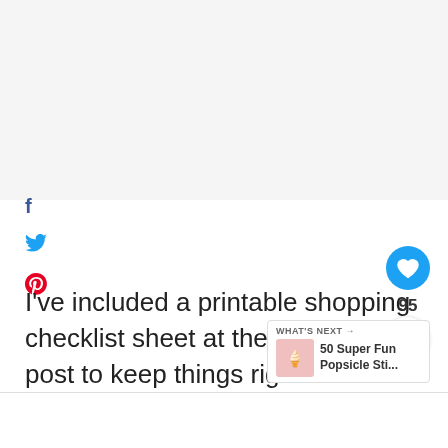[Figure (screenshot): Social media share icons on the left: Facebook (f), Twitter (bird), Pinterest (P)]
I've included a printable shopping checklist sheet at the end of this post to keep things right!
[Figure (infographic): Floating like button (heart icon, blue circle) with count 95, share button, and 'What's Next' widget showing '50 Super Fun Popsicle Sti...']